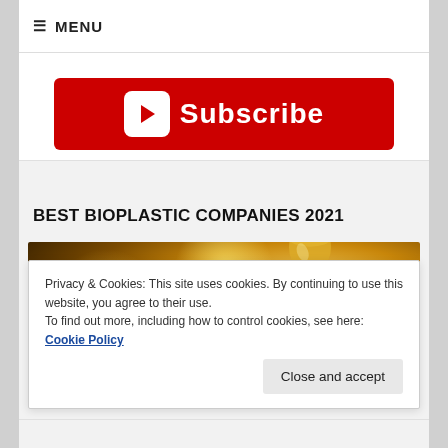≡ MENU
[Figure (screenshot): Red YouTube-style Subscribe button with play icon]
BEST BIOPLASTIC COMPANIES 2021
[Figure (photo): Golden bokeh background with trophy, award ceremony image]
Privacy & Cookies: This site uses cookies. By continuing to use this website, you agree to their use.
To find out more, including how to control cookies, see here: Cookie Policy
Close and accept